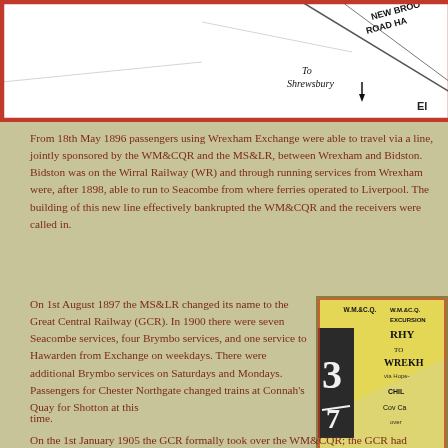[Figure (map): Partial map showing railway lines near Wrexham area. Text visible includes 'NEW BROO ROAD HA', 'To Shrewsbury' with arrow, and 'El' partially visible. Map has a red border.]
From 18th May 1896 passengers using Wrexham Exchange were able to travel via a line, jointly sponsored by the WM&CQR and the MS&LR, between Wrexham and Bidston. Bidston was on the Wirral Railway (WR) and through running services from Wrexham were, after 1898, able to run to Seacombe from where ferries operated to Liverpool. The building of this new line effectively bankrupted the WM&CQR and the receivers were called in.
On 1st August 1897 the MS&LR changed its name to the Great Central Railway (GCR). In 1900 there were seven Seacombe services, four Brymbo services, and one service to Hawarden from Exchange on weekdays. There were additional Brymbo services on Saturdays and Mondays. Passengers for Chester Northgate changed trains at Connah's Quay for Shotton at this time.
[Figure (photo): Old railway excursion ticket from W.M.&C.Q.R. showing 'EXCURSION' text, 'RHY' (Rhyl), 'TO', 'WREKH' (Wrexham), 'via Hope-', 'CHIL', 'Cov Ca', 'over'. The number 3/7 is prominently displayed on the left side. Ticket has a yellow/gold diagonal stripe across it.]
On the 1st January 1905 the GCR formally took over the WM&CQR; the GCR had operated the line since the receiver was called in so in reality there was little actual change. All WM&CQR locomotives were hurriedly repainted in GCR livery. The GCR introduced a 'Railmotor' onto its Brymbo service in 1905 in a bid to win more...